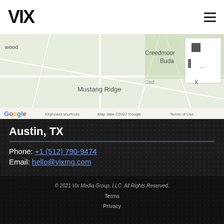VIX
[Figure (map): Google Maps view showing Austin TX area with Buda, Creedmoor, Mustang Ridge, Cedar area visible. Includes Google branding, keyboard shortcuts, map data ©2022 Google, Terms of Use.]
Austin, TX
Phone: +1 (512) 790-9474
Email: hello@vixmg.com
© 2021 Vix Media Group, LLC. All Rights Reserved.
Terms
Privacy